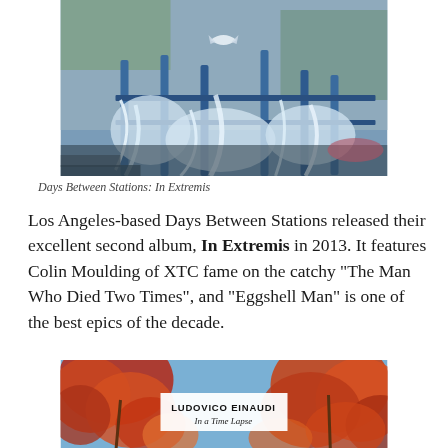[Figure (photo): Album artwork for Days Between Stations: In Extremis — a painted mural-style illustration showing water splashing over metal railings and stairs with a bird in flight, in blue, grey and white tones.]
Days Between Stations: In Extremis
Los Angeles-based Days Between Stations released their excellent second album, In Extremis in 2013. It features Colin Moulding of XTC fame on the catchy “The Man Who Died Two Times”, and “Eggshell Man” is one of the best epics of the decade.
[Figure (photo): Album cover for Ludovico Einaudi: In a Time Lapse — autumn trees with red and orange leaves against a blue sky, with a white rectangular overlay bearing the text LUDOVICO EINAUDI in bold and 'In a Time Lapse' in italic below.]